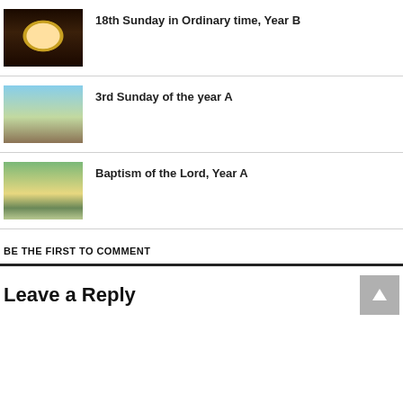18th Sunday in Ordinary time, Year B
3rd Sunday of the year A
Baptism of the Lord, Year A
BE THE FIRST TO COMMENT
Leave a Reply